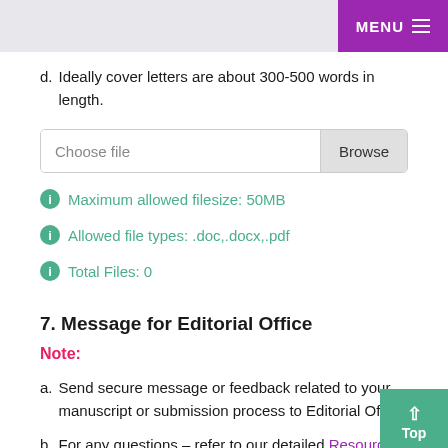MENU
d. Ideally cover letters are about 300-500 words in length.
[Figure (screenshot): File upload widget with 'Choose file' input area and 'Browse' button]
Maximum allowed filesize: 50MB
Allowed file types: .doc,.docx,.pdf
Total Files: 0
7. Message for Editorial Office
Note:
a. Send secure message or feedback related to your manuscript or submission process to Editorial Office.
b. For any questions - refer to our detailed Resources